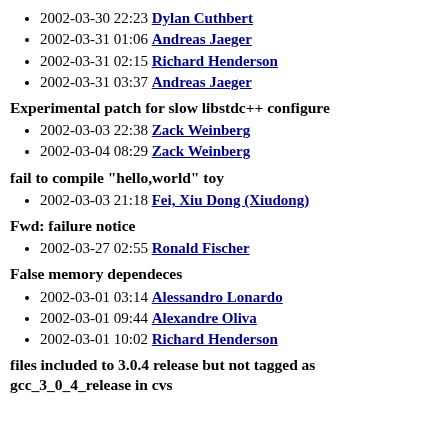2002-03-30 22:23 Dylan Cuthbert
2002-03-31 01:06 Andreas Jaeger
2002-03-31 02:15 Richard Henderson
2002-03-31 03:37 Andreas Jaeger
Experimental patch for slow libstdc++ configure
2002-03-03 22:38 Zack Weinberg
2002-03-04 08:29 Zack Weinberg
fail to compile "hello,world" toy
2002-03-03 21:18 Fei, Xiu Dong (Xiudong)
Fwd: failure notice
2002-03-27 02:55 Ronald Fischer
False memory dependeces
2002-03-01 03:14 Alessandro Lonardo
2002-03-01 09:44 Alexandre Oliva
2002-03-01 10:02 Richard Henderson
files included to 3.0.4 release but not tagged as gcc_3_0_4_release in cvs